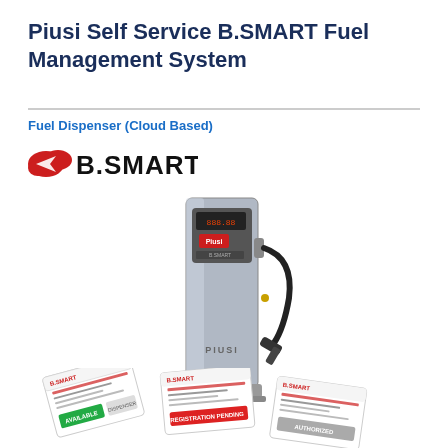Piusi Self Service B.SMART Fuel Management System
Fuel Dispenser (Cloud Based)
[Figure (logo): B.SMART logo with red bird/arrow icon on the left and bold black text B.SMART]
[Figure (photo): Piusi B.SMART fuel dispenser unit — tall silver metallic column with digital display panel, Piusi branding, and black fuel nozzle/hose attached on the right side]
[Figure (photo): Three B.SMART branded cards/reports fanned out showing registration or transaction details]